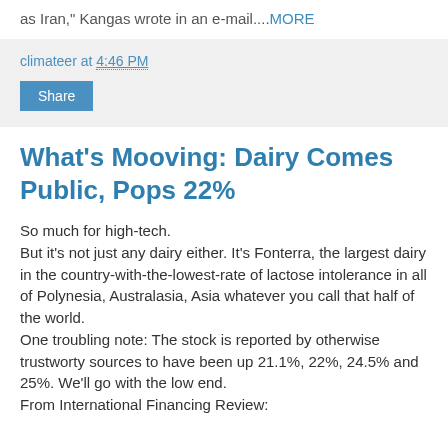as Iran," Kangas wrote in an e-mail....MORE
climateer at 4:46 PM
Share
What's Mooving: Dairy Comes Public, Pops 22%
So much for high-tech.
But it's not just any dairy either. It's Fonterra, the largest dairy in the country-with-the-lowest-rate of lactose intolerance in all of Polynesia, Australasia, Asia whatever you call that half of the world.
One troubling note: The stock is reported by otherwise trustworty sources to have been up 21.1%, 22%, 24.5% and 25%. We'll go with the low end.
From International Financing Review: